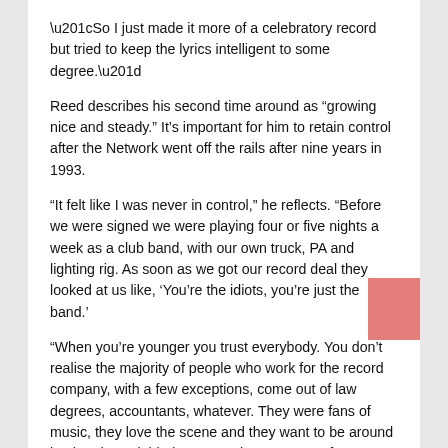“So I just made it more of a celebratory record but tried to keep the lyrics intelligent to some degree.”
Reed describes his second time around as “growing nice and steady.” It’s important for him to retain control after the Network went off the rails after nine years in 1993.
“It felt like I was never in control,” he reflects. “Before we were signed we were playing four or five nights a week as a club band, with our own truck, PA and lighting rig. As soon as we got our record deal they looked at us like, ‘You’re the idiots, you’re just the band.’
“When you’re younger you trust everybody. You don’t realise the majority of people who work for the record company, with a few exceptions, come out of law degrees, accountants, whatever. They were fans of music, they love the scene and they want to be around it – but they wielded a tremendous amount of power without having any talent or recognising talent. The internet has levelled that playing field.